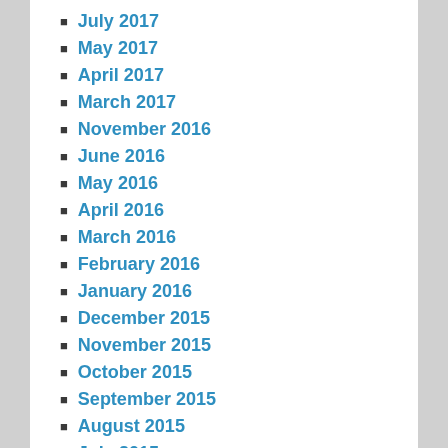July 2017
May 2017
April 2017
March 2017
November 2016
June 2016
May 2016
April 2016
March 2016
February 2016
January 2016
December 2015
November 2015
October 2015
September 2015
August 2015
July 2015
May 2015
March 2015
September 2014